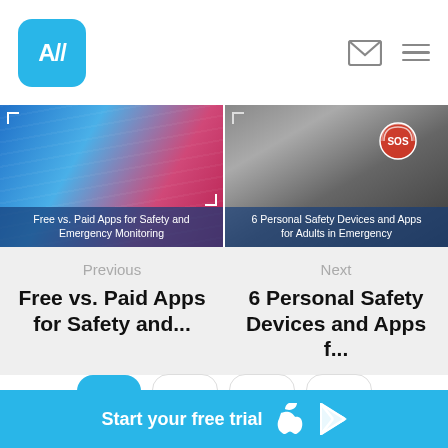[Figure (screenshot): App logo: blue rounded square with white A// text]
[Figure (screenshot): Envelope/mail icon and hamburger menu icon in header]
[Figure (photo): Left card image: blurred photo of ambulance/emergency vehicle in blue and pink tones. Caption reads: Free vs. Paid Apps for Safety and Emergency Monitoring]
[Figure (photo): Right card image: person sitting against wall with SOS signal graphic. Caption reads: 6 Personal Safety Devices and Apps for Adults in Emergency]
Previous
Free vs. Paid Apps for Safety and...
Next
6 Personal Safety Devices and Apps f...
[Figure (logo): Social media icons row: A// logo button (blue), Facebook f button, LinkedIn in button, YouTube play button]
Start your free trial